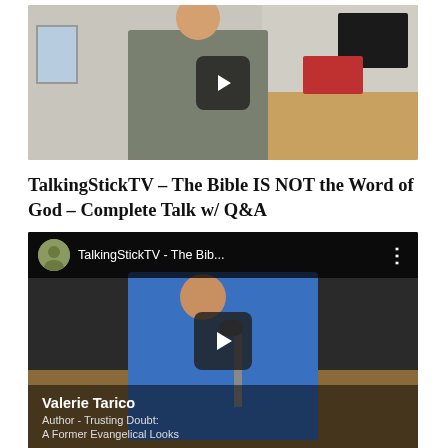[Figure (screenshot): YouTube video thumbnail showing a woman in a gray outfit standing near a wooden desk, with a red laptop and a dark monitor visible. A dark play button overlay is centered on the image.]
TalkingStickTV – The Bible IS NOT the Word of God – Complete Talk w/ Q&A
[Figure (screenshot): YouTube embedded video player showing Valerie Tarico speaking into a microphone, wearing a blue top. The video header shows 'TalkingStickTV - The Bib...' with a channel avatar. A lower-third graphic reads: 'Valerie Tarico / Author - Trusting Doubt: / A Former Evangelical Looks...' A play button is centered.]
Did Jesus Even Exist? | Richard Carrier